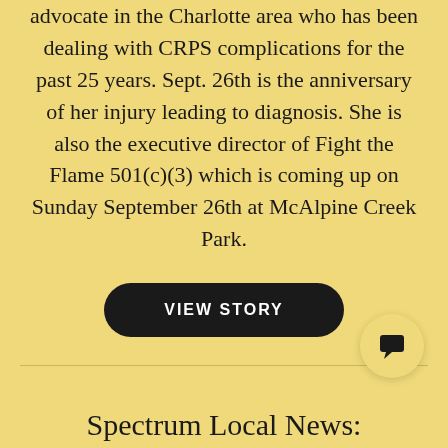advocate in the Charlotte area who has been dealing with CRPS complications for the past 25 years. Sept. 26th is the anniversary of her injury leading to diagnosis. She is also the executive director of Fight the Flame 501(c)(3) which is coming up on Sunday September 26th at McAlpine Creek Park.
VIEW STORY
Spectrum Local News: